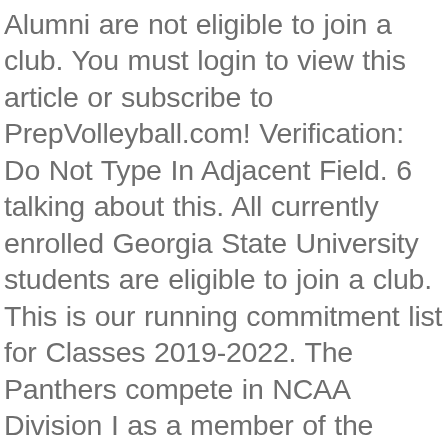Alumni are not eligible to join a club. You must login to view this article or subscribe to PrepVolleyball.com! Verification: Do Not Type In Adjacent Field. 6 talking about this. All currently enrolled Georgia State University students are eligible to join a club. This is our running commitment list for Classes 2019-2022. The Panthers compete in NCAA Division I as a member of the Coastal Collegiate Sports Association (CCSA). Click here. Here you'll get information regarding the college and details on their Women's Beach Volleyball program like who to make contact with about recruiting, names of past alumni, what scholarship opportunities can be had and how to begin the recruiting process. Club Directory 2020 – 2021. Womens Volleyball Team © Copyright Advanced Sports Media 2020, All Rights Reserved | 111 West Ocean Blvd., Ste. Silence is not a solution. High school and club teams use it to help their athletes get recruited. The